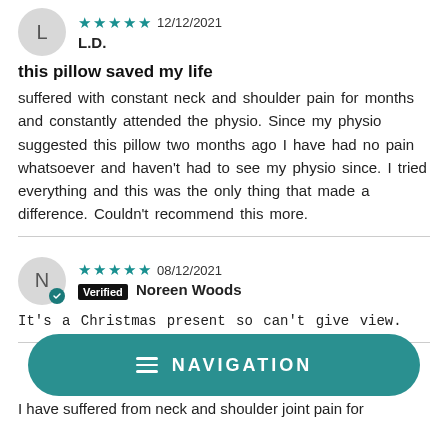L.D.
this pillow saved my life
suffered with constant neck and shoulder pain for months and constantly attended the physio. Since my physio suggested this pillow two months ago I have had no pain whatsoever and haven't had to see my physio since. I tried everything and this was the only thing that made a difference. Couldn't recommend this more.
08/12/2021 Verified Noreen Woods
It's a Christmas present so can't give view.
NAVIGATION
I have suffered from neck and shoulder joint pain for